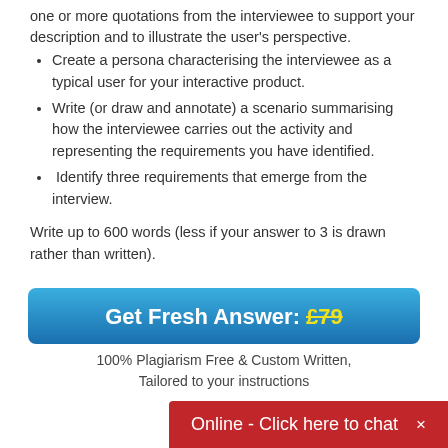one or more quotations from the interviewee to support your description and to illustrate the user's perspective.
Create a persona characterising the interviewee as a typical user for your interactive product.
Write (or draw and annotate) a scenario summarising how the interviewee carries out the activity and representing the requirements you have identified.
Identify three requirements that emerge from the interview.
Write up to 600 words (less if your answer to 3 is drawn rather than written).
Get Fresh Answer: £79
100% Plagiarism Free & Custom Written,
Tailored to your instructions
Online - Click here to chat ×